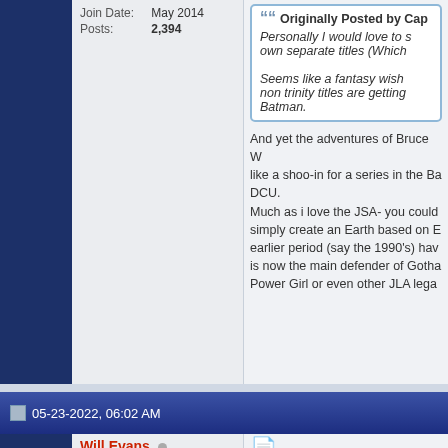Join Date: May 2014
Posts: 2,394
Originally Posted by Cap[tain...] Personally I would love to s... own separate titles (Which... Seems like a fantasy wish ... non trinity titles are getting ... Batman.
And yet the adventures of Bruce W... like a shoo-in for a series in the Ba... DCU. Much as i love the JSA- you could... simply create an Earth based on E... earlier period (say the 1990's) hav... is now the main defender of Gotha... Power Girl or even other JLA lega...
05-23-2022, 06:02 AM
Will Evans
Extraordinary Member
Join Date: Apr 2020
Posts: 5,091
There's a rumor that a 2023 JSA s...